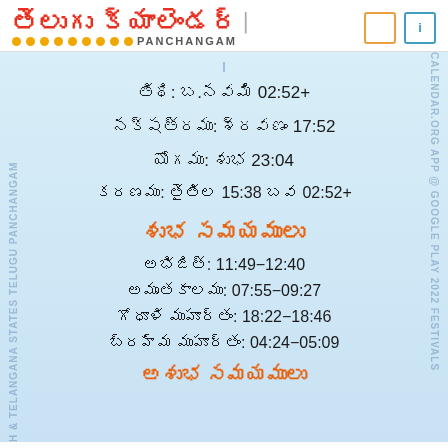తెలుగు క్యాలెండర్ PANCHANGAM
తిథి: బ.నవమి 02:52+
నక్షత్రము: శ్రవణం 17:52
యోగము: శుభ 23:04
కరణము: తైతిల 15:38 బవ 02:52+
శుభ సమయములు
అభిజిత్: 11:49-12:40
అమృతకాలము: 07:55-09:27
గోధూళి ముహూర్తం: 18:22-18:46
బ్రహ్మ ముహూర్తం: 04:24-05:09
అశుభ సమయములు